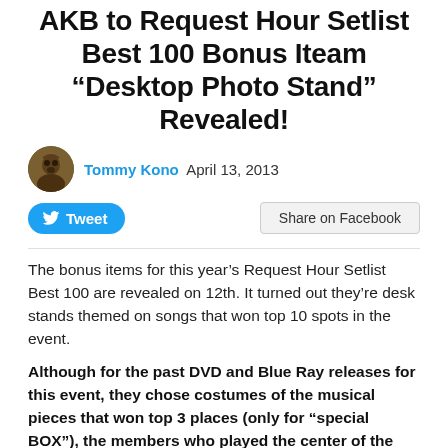AKB to Request Hour Setlist Best 100 Bonus Iteam “Desktop Photo Stand” Revealed!
Tommy Kono  April 13, 2013
The bonus items for this year’s Request Hour Setlist Best 100 are revealed on 12th. It turned out they’re desk stands themed on songs that won top 10 spots in the event.
Although for the past DVD and Blue Ray releases for this event, they chose costumes of the musical pieces that won top 3 places (only for “special BOX”), the members who played the center of the top 3 musical pieces appear on a product package this time. The bonus for the first press include 148 pages